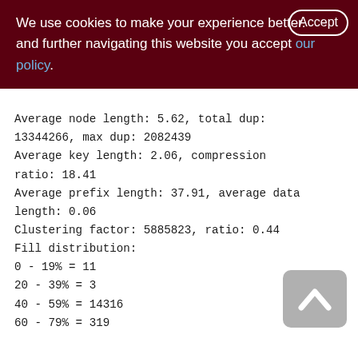We use cookies to make your experience better. By accepting and further navigating this website you accept our policy.
Average node length: 5.62, total dup: 13344266, max dup: 2082439
Average key length: 2.06, compression ratio: 18.41
Average prefix length: 37.91, average data length: 0.06
Clustering factor: 5885823, ratio: 0.44
Fill distribution:
0 - 19% = 11
20 - 39% = 3
40 - 59% = 14316
60 - 79% = 319
[Figure (other): Scroll-to-top button with upward chevron arrow icon]